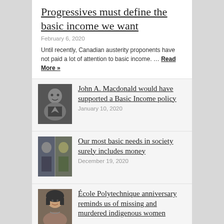Progressives must define the basic income we want
February 6, 2020
Until recently, Canadian austerity proponents have not paid a lot of attention to basic income. … Read More »
[Figure (photo): Black and white portrait photo of John A. Macdonald]
John A. Macdonald would have supported a Basic Income policy
January 10, 2020
[Figure (photo): Two-panel photo showing two people]
Our most basic needs in society surely includes money
December 19, 2020
[Figure (photo): Portrait photo of a woman with dark hair]
École Polytechnique anniversary reminds us of missing and murdered indigenous women